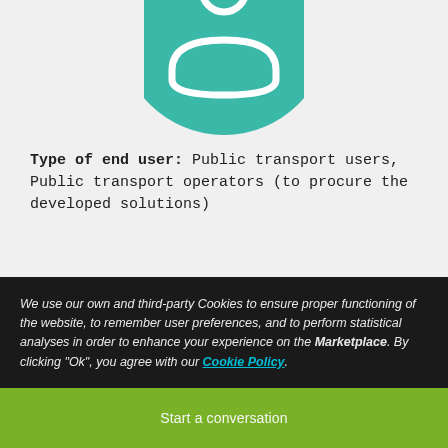[Figure (illustration): Teal circular icon with a white person/user silhouette icon, partially cropped at the top of the page]
Type of end user: Public transport users, Public transport operators (to procure the developed solutions)
[Figure (other): Green rounded banner at the bottom of the page background]
We use our own and third-party Cookies to ensure proper functioning of the website, to remember user preferences, and to perform statistical analyses in order to enhance your experience on the Marketplace. By clicking "Ok", you agree with our Cookie Policy.
Start a conversation